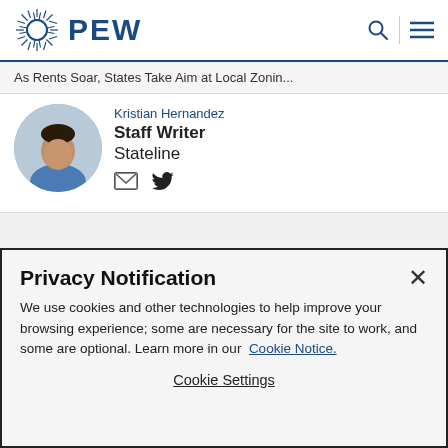PEW
As Rents Soar, States Take Aim at Local Zonin...
Kristian Hernandez
Staff Writer
Stateline
EXPLORE MORE FROM STATELINE
Privacy Notification
We use cookies and other technologies to help improve your browsing experience; some are necessary for the site to work, and some are optional. Learn more in our Cookie Notice.
Cookie Settings